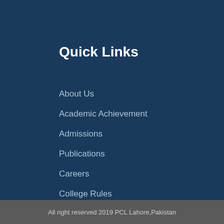Quick Links
About Us
Academic Achievement
Admissions
Publications
Careers
College Rules
FAQs
Contact Us
All right reserved 2019 PCL Lahore,Pakistan